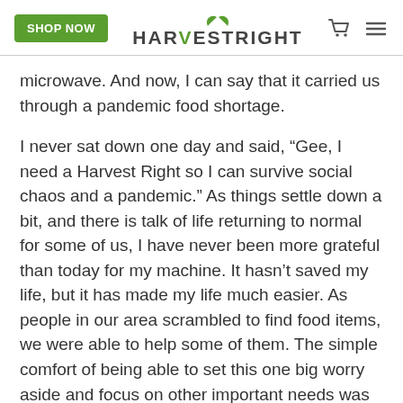SHOP NOW | HARVESTRIGHT
microwave. And now, I can say that it carried us through a pandemic food shortage.
I never sat down one day and said, “Gee, I need a Harvest Right so I can survive social chaos and a pandemic.” As things settle down a bit, and there is talk of life returning to normal for some of us, I have never been more grateful than today for my machine. It hasn’t saved my life, but it has made my life much easier. As people in our area scrambled to find food items, we were able to help some of them. The simple comfort of being able to set this one big worry aside and focus on other important needs was enough to make me